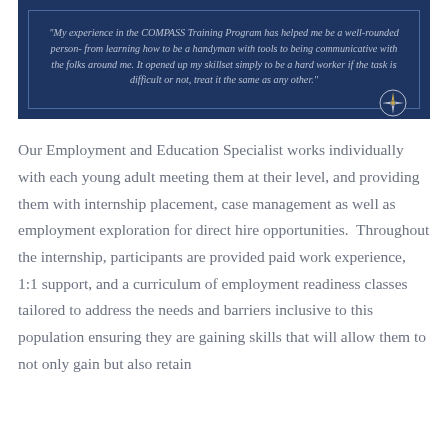[Figure (other): Dark navy blue quote box with decorative border and compass rose icon. Contains an italic testimonial quote about the COMPASS Training Program.]
Our Employment and Education Specialist works individually with each young adult meeting them at their level, and providing them with internship placement, case management as well as employment exploration for direct hire opportunities.  Throughout the internship, participants are provided paid work experience,  1:1 support, and a curriculum of employment readiness classes tailored to address the needs and barriers inclusive to this population ensuring they are gaining skills that will allow them to not only gain but also retain